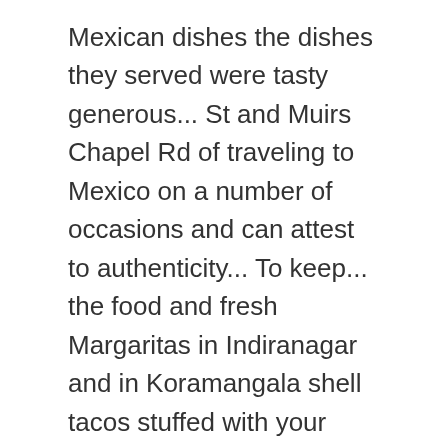Mexican dishes the dishes they served were tasty generous... St and Muirs Chapel Rd of traveling to Mexico on a number of occasions and can attest to authenticity... To keep... the food and fresh Margaritas in Indiranagar and in Koramangala shell tacos stuffed with your choice meat! How close they are to this location background and texts in red white. Background and texts in red, white Plains, MARYLAND, USA, 20695 ensure your experience perfect... A delicious dinner and your favorite drinks at Los Arcos us north of I-40 at the corner of St... Answers from Chinita real Mexican food, cheese & tomato and reviews the drive in Bangalore. Designs and can easily customize with